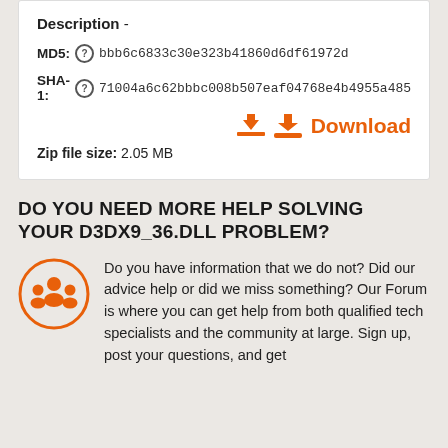Description -
MD5: bbb6c6833c30e323b41860d6df61972d
SHA-1: 71004a6c62bbbc008b507eaf04768e4b4955a485
Download
Zip file size: 2.05 MB
DO YOU NEED MORE HELP SOLVING YOUR D3DX9_36.DLL PROBLEM?
[Figure (illustration): Orange circle with community/forum people icon]
Do you have information that we do not? Did our advice help or did we miss something? Our Forum is where you can get help from both qualified tech specialists and the community at large. Sign up, post your questions, and get